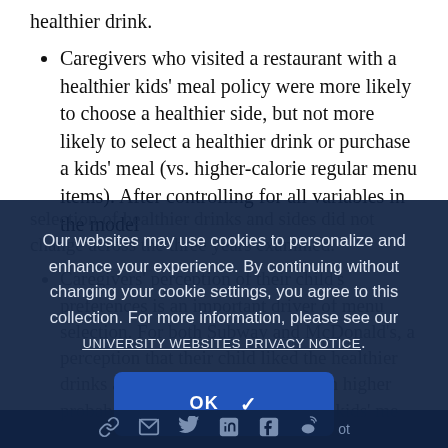healthier drink.
Caregivers who visited a restaurant with a healthier kids' meal policy were more likely to choose a healthier side, but not more likely to select a healthier drink or purchase a kids' meal (vs. higher-calorie regular menu items). After controlling for all variables in the model selection of healthier drinks and sides did not change across the three years examined.
Caregivers' perception of their child's preferences is an important driver of menu selection. For both Subway and McDonald's, a perception that their child liked the healthier drinks and sides was associated with higher probability of ordering items with a kids' meal.
Our websites may use cookies to personalize and enhance your experience. By continuing without changing your cookie settings, you agree to this collection. For more information, please see our UNIVERSITY WEBSITES PRIVACY NOTICE.
OK ✓